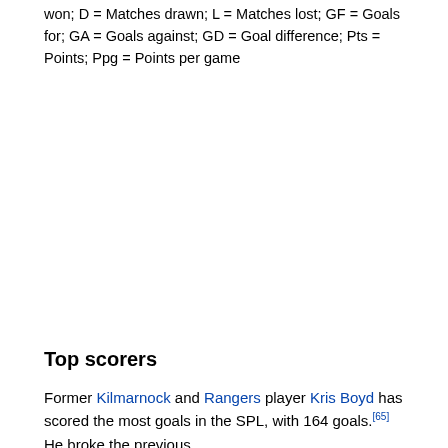won; D = Matches drawn; L = Matches lost; GF = Goals for; GA = Goals against; GD = Goal difference; Pts = Points; Ppg = Points per game
Top scorers
Former Kilmarnock and Rangers player Kris Boyd has scored the most goals in the SPL, with 164 goals.[65] He broke the previous